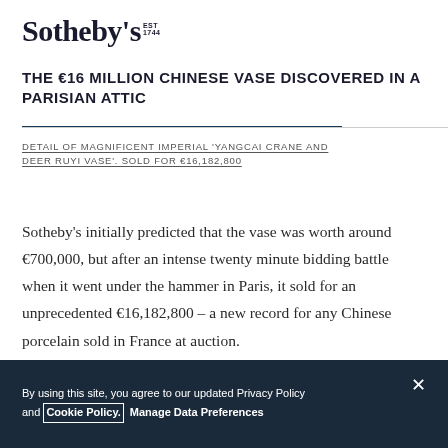Sotheby's EST 1744
THE €16 MILLION CHINESE VASE DISCOVERED IN A PARISIAN ATTIC
DETAIL OF MAGNIFICENT IMPERIAL 'YANGCAI CRANE AND DEER RUYI VASE'. SOLD FOR €16,182,800
Sotheby's initially predicted that the vase was worth around €700,000, but after an intense twenty minute bidding battle when it went under the hammer in Paris, it sold for an unprecedented €16,182,800 – a new record for any Chinese porcelain sold in France at auction.
By using this site, you agree to our updated Privacy Policy and Cookie Policy. Manage Data Preferences